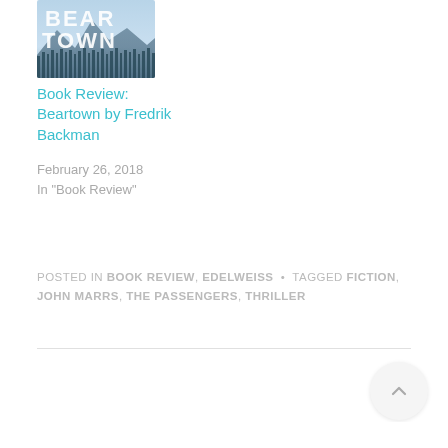[Figure (illustration): Book cover of Beartown by Fredrik Backman — shows the top portion with 'BEAR TOWN' text in white letters against a moody blue-grey landscape with trees and mountains]
Book Review: Beartown by Fredrik Backman
February 26, 2018
In "Book Review"
POSTED IN BOOK REVIEW, EDELWEISS  •  TAGGED FICTION, JOHN MARRS, THE PASSENGERS, THRILLER